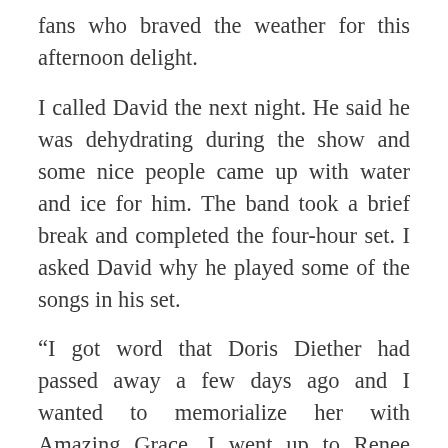fans who braved the weather for this afternoon delight.
I called David the next night. He said he was dehydrating during the show and some nice people came up with water and ice for him. The band took a brief break and completed the four-hour set. I asked David why he played some of the songs in his set.
“I got word that Doris Diether had passed away a few days ago and I wanted to memorialize her with Amazing Grace. I went up to Renee Manning and asked her if she would sing the song. And the rest of